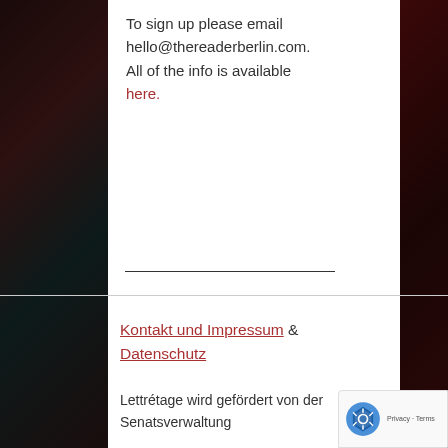To sign up please email hello@thereaderberlin.com. All of the info is available here.
Kontakt und Impressum & Datenschutz
Lettrétage wird gefördert von der Senatsverwaltung